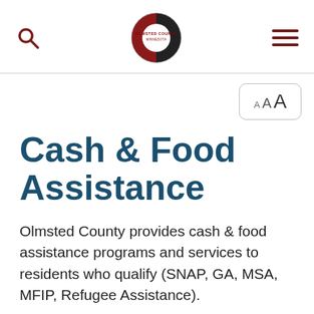Olmsted County Minnesota — navigation header with search, logo, and menu icons
[Figure (other): Text size selector button showing 'AAA' in three increasing sizes]
Cash & Food Assistance
Olmsted County provides cash & food assistance programs and services to residents who qualify (SNAP, GA, MSA, MFIP, Refugee Assistance).